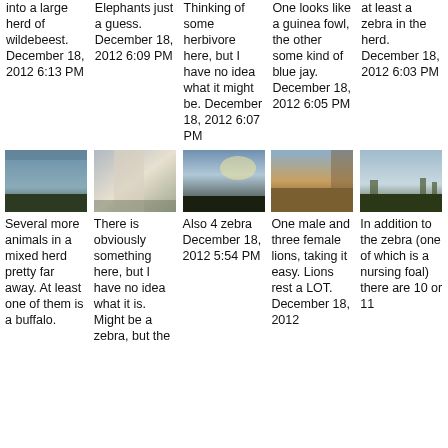into a large herd of wildebeest. December 18, 2012 6:13 PM
Elephants just a guess. December 18, 2012 6:09 PM
Thinking of some herbivore here, but I have no idea what it might be. December 18, 2012 6:07 PM
One looks like a guinea fowl, the other some kind of blue jay. December 18, 2012 6:05 PM
at least a zebra in the herd. December 18, 2012 6:03 PM
[Figure (photo): Landscape photo, savanna with sky]
[Figure (photo): Blurry close-up, fabric or animal]
[Figure (photo): Wide savanna landscape with bright sky]
[Figure (photo): Golden savanna landscape]
[Figure (photo): Open field with trees and sky]
Several more animals in a mixed herd pretty far away. At least one of them is a buffalo.
There is obviously something here, but I have no idea what it is. Might be a zebra, but the
Also 4 zebra December 18, 2012 5:54 PM
One male and three female lions, taking it easy. Lions rest a LOT. December 18, 2012
In addition to the zebra (one of which is a nursing foal) there are 10 or 11